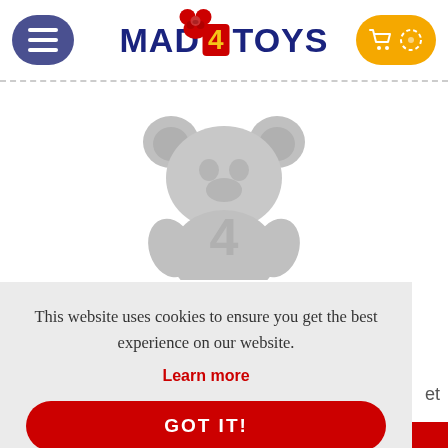Mad 4 Toys
[Figure (illustration): Greyed-out teddy bear placeholder image with 'AWAITING IMAGE' text below]
This website uses cookies to ensure you get the best experience on our website.
Learn more
GOT IT!